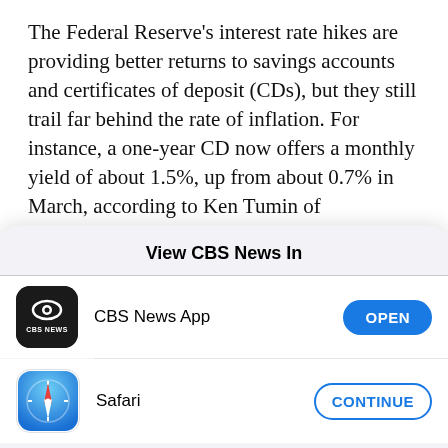The Federal Reserve's interest rate hikes are providing better returns to savings accounts and certificates of deposit (CDs), but they still trail far behind the rate of inflation. For instance, a one-year CD now offers a monthly yield of about 1.5%, up from about 0.7% in March, according to Ken Tumin of DepositAccounts.com. But in May, inflation jumped to 8.6%, which means that cash invested in a CD
[Figure (screenshot): iOS app picker modal overlay: 'View CBS News In' with two options — CBS News App (with OPEN button) and Safari (with CONTINUE button)]